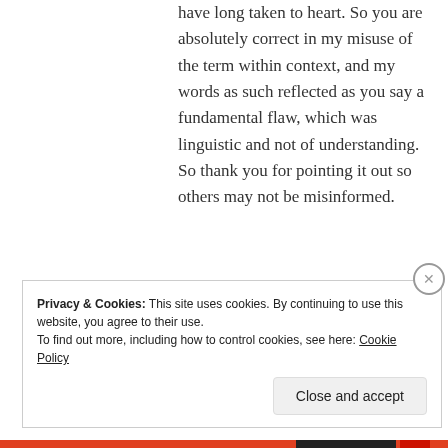have long taken to heart. So you are absolutely correct in my misuse of the term within context, and my words as such reflected as you say a fundamental flaw, which was linguistic and not of understanding. So thank you for pointing it out so others may not be misinformed.
★ Like
Privacy & Cookies: This site uses cookies. By continuing to use this website, you agree to their use.
To find out more, including how to control cookies, see here: Cookie Policy
Close and accept